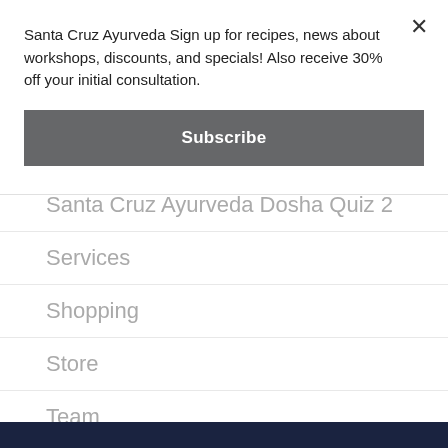Santa Cruz Ayurveda Sign up for recipes, news about workshops, discounts, and specials! Also receive 30% off your initial consultation.
Subscribe
Santa Cruz Ayurveda Dosha Quiz 2
Services
Shopping
Store
Team
Workshops